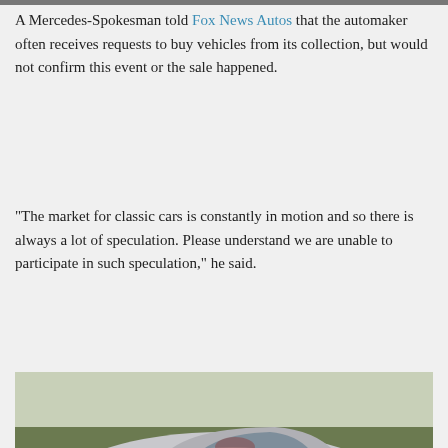A Mercedes-Spokesman told Fox News Autos that the automaker often receives requests to buy vehicles from its collection, but would not confirm this event or the sale happened.
“The market for classic cars is constantly in motion and so there is always a lot of speculation. Please understand we are unable to participate in such speculation,” he said.
[Figure (photo): Front view of the silver Mercedes-Benz 300SLR Uhlenhaut Coupe on a racing track at a historic racing event. The car features the iconic Mercedes three-pointed star on the grille.]
the Mercedes-Benz 300SLR Uhlenhaut Coupe has made appearances at historic racing events. (Michael Cole/Corbis via Getty Images)